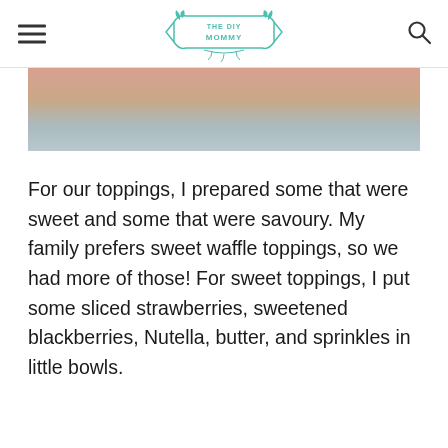THE DIY MOMMY
[Figure (photo): Partial photo strip showing colorful waffle toppings in bowls on a wooden surface]
For our toppings, I prepared some that were sweet and some that were savoury. My family prefers sweet waffle toppings, so we had more of those! For sweet toppings, I put some sliced strawberries, sweetened blackberries, Nutella, butter, and sprinkles in little bowls.